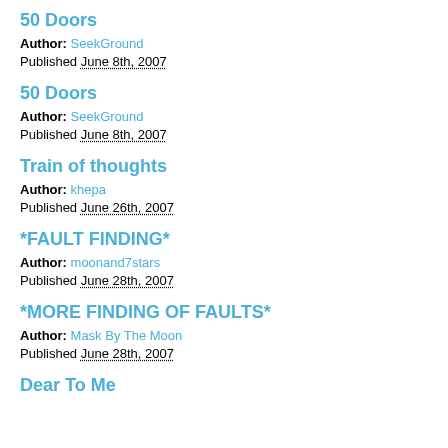50 Doors
Author: SeekGround
Published June 8th, 2007
50 Doors
Author: SeekGround
Published June 8th, 2007
Train of thoughts
Author: khepa
Published June 26th, 2007
*FAULT FINDING*
Author: moonand7stars
Published June 28th, 2007
*MORE FINDING OF FAULTS*
Author: Mask By The Moon
Published June 28th, 2007
Dear To Me